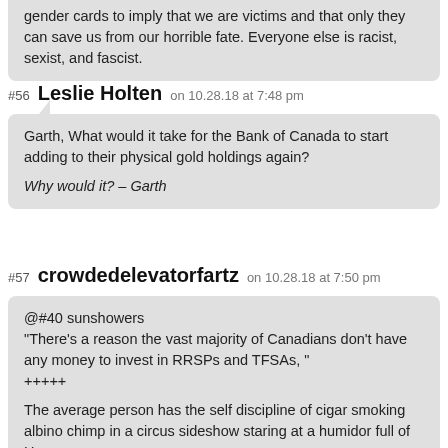gender cards to imply that we are victims and that only they can save us from our horrible fate. Everyone else is racist, sexist, and fascist.
#56 Leslie Holten on 10.28.18 at 7:48 pm
Garth, What would it take for the Bank of Canada to start adding to their physical gold holdings again?

Why would it? – Garth
#57 crowdedelevatorfartz on 10.28.18 at 7:50 pm
@#40 sunshowers
"There's a reason the vast majority of Canadians don't have any money to invest in RRSPs and TFSAs, "
+++++

The average person has the self discipline of cigar smoking albino chimp in a circus sideshow staring at a humidor full of Havanas.

Wants vs Needs.